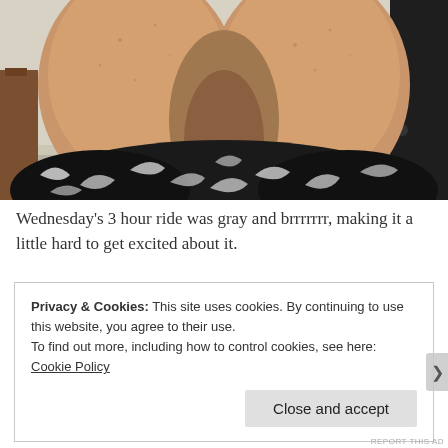[Figure (photo): Close-up photo of a person's legs from thighs down, wearing black and white patterned shorts/skirt, seated near a dark dresser with a beige/tan wall and wooden chair visible in background]
Wednesday's 3 hour ride was gray and brrrrrrr, making it a little hard to get excited about it.
Privacy & Cookies: This site uses cookies. By continuing to use this website, you agree to their use.
To find out more, including how to control cookies, see here: Cookie Policy
Close and accept